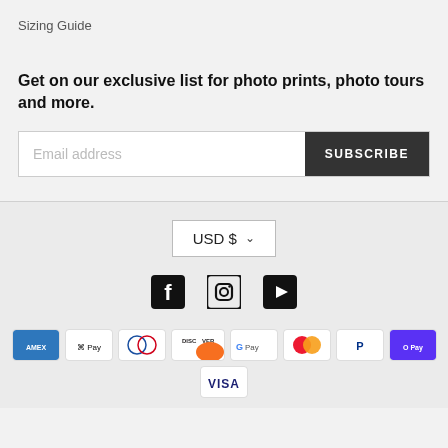Sizing Guide
Get on our exclusive list for photo prints, photo tours and more.
Email address | SUBSCRIBE
[Figure (infographic): Currency selector showing USD $ with dropdown chevron]
[Figure (infographic): Social media icons: Facebook, Instagram, YouTube]
[Figure (infographic): Payment method icons: Amex, Apple Pay, Diners Club, Discover, Google Pay, Mastercard, PayPal, Shop Pay, Visa]